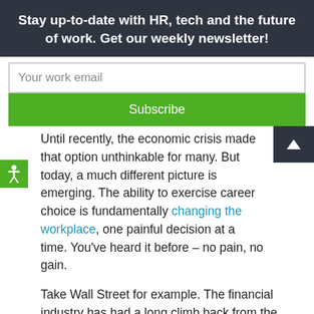Stay up-to-date with HR, tech and the future of work. Get our weekly newsletter!
Your work email
Subscribe
Until recently, the economic crisis made that option unthinkable for many. But today, a much different picture is emerging. The ability to exercise career choice is fundamentally changing the workplace, one painful decision at a time. You’ve heard it before – no pain, no gain.
Take Wall Street for example. The financial industry has had a long climb back from the darkest days of recession. But, as a recent NPR Planet Money podcast reports, many new banking recruits are struggling to stay immersed in an industry that puts money above all else. They want to do more than just make money —